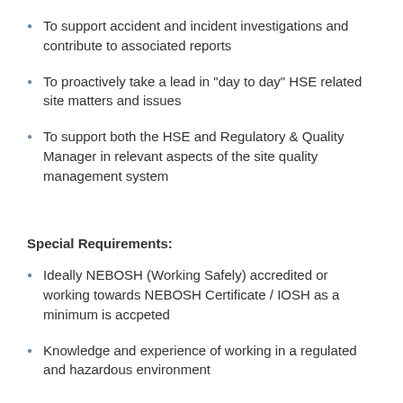To support accident and incident investigations and contribute to associated reports
To proactively take a lead in "day to day" HSE related site matters and issues
To support both the HSE and Regulatory & Quality Manager in relevant aspects of the site quality management system
Special Requirements:
Ideally NEBOSH (Working Safely) accredited or working towards NEBOSH Certificate / IOSH as a minimum is accpeted
Knowledge and experience of working in a regulated and hazardous environment
Important Information: We endeavour to process your personal data in a fair and transparent manner. In applying for this role, Russell Taylor